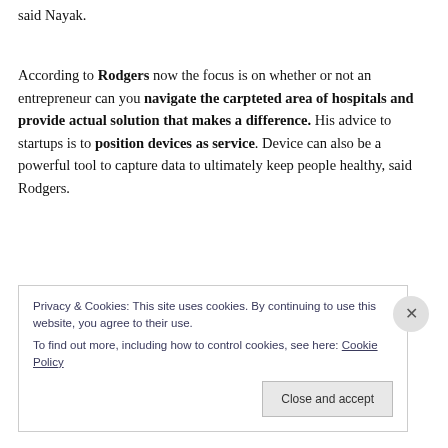said Nayak.
According to Rodgers now the focus is on whether or not an entrepreneur can you navigate the carpteted area of hospitals and provide actual solution that makes a difference. His advice to startups is to position devices as service. Device can also be a powerful tool to capture data to ultimately keep people healthy, said Rodgers.
Privacy & Cookies: This site uses cookies. By continuing to use this website, you agree to their use.
To find out more, including how to control cookies, see here: Cookie Policy
Close and accept